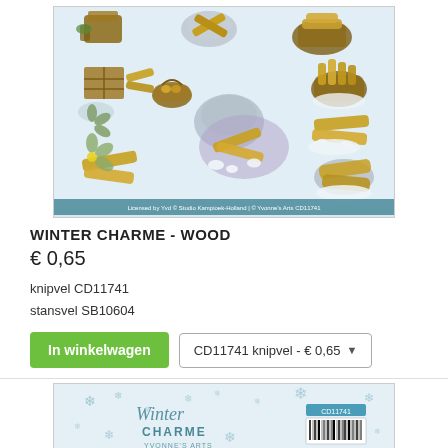[Figure (photo): Product sheet showing winter charme wood die-cut elements: baskets, logs, snowflakes, pinecones on light blue background with copyright text at bottom]
WINTER CHARME - WOOD
€ 0,65
knipvel CD11741
stansvel SB10604
In winkelwagen   CD11741 knipvel - € 0,65
[Figure (photo): Winter Charme product packaging banner with snowflakes and barcode on light blue background]